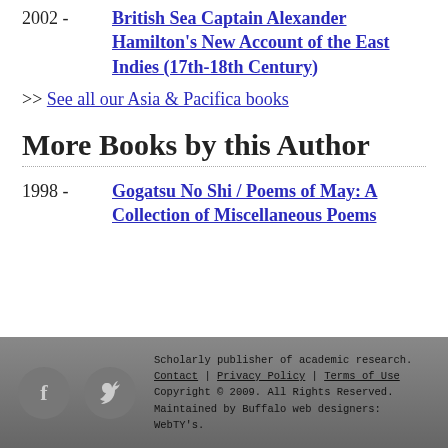2002 - British Sea Captain Alexander Hamilton's New Account of the East Indies (17th-18th Century)
>> See all our Asia & Pacifica books
More Books by this Author
1998 - Gogatsu No Shi / Poems of May: A Collection of Miscellaneous Poems
Scholarly publisher of academic research. Contact | Privacy Policy | Terms of Use Copyright © 2009. All Rights Reserved. Maintained by Buffalo web designers: WebTY's.